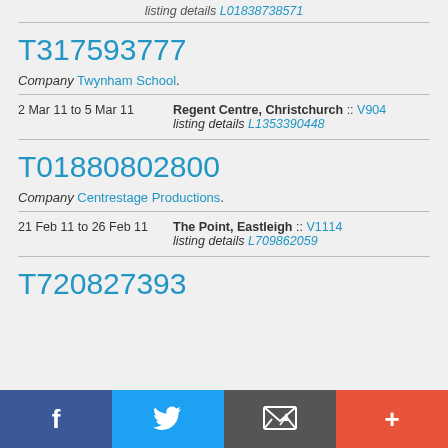listing details L01838738571
T317593777
Company Twynham School.
2 Mar 11 to 5 Mar 11 | Regent Centre, Christchurch :: V904 | listing details L1353390448
T01880802800
Company Centrestage Productions.
21 Feb 11 to 26 Feb 11 | The Point, Eastleigh :: V1114 | listing details L709862059
T720827393
f  (Twitter bird)  (email icon)  +